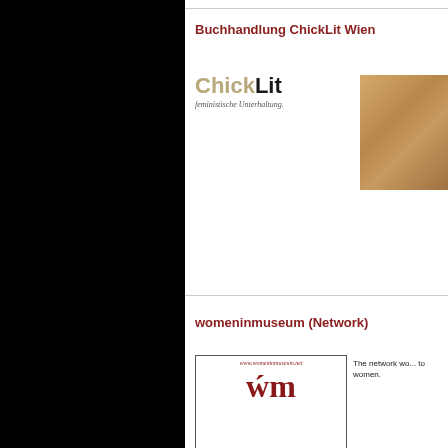Buchhandlung ChickLit Wien
[Figure (logo): ChickLit logo with text 'ChickLit' and subtitle 'feministische Unterhaltung.']
[Figure (photo): Interior photo of a bookstore]
womeninmuseum (Network)
[Figure (logo): womeninmuseum logo with URL www.womeninmuseum.net and stylized wm symbol]
The network wo... to women.